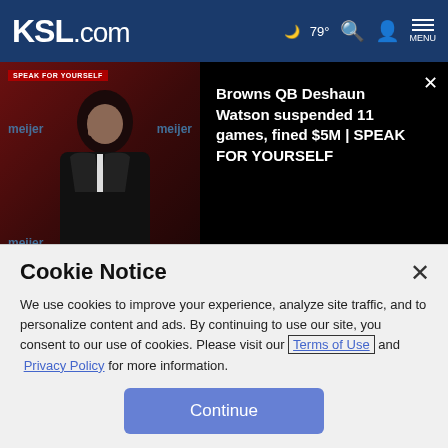KSL.com — 79° MENU
[Figure (screenshot): Video overlay showing a man in a suit at a press conference with meijer logos in background, alongside text about Browns QB Deshaun Watson suspended 11 games, fined $5M | SPEAK FOR YOURSELF]
released Monday. Kentucky was No. 2 with two first-place votes, while third-ranked Kansas received the other three.
Michigan State had been ranked No. 1 for 12 weeks all-time
Cookie Notice
We use cookies to improve your experience, analyze site traffic, and to personalize content and ads. By continuing to use our site, you consent to our use of cookies. Please visit our Terms of Use and Privacy Policy for more information.
Continue